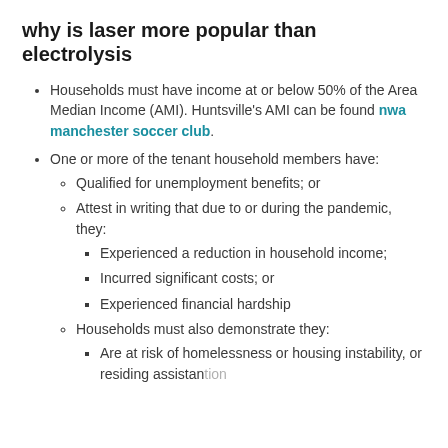why is laser more popular than electrolysis
Households must have income at or below 50% of the Area Median Income (AMI). Huntsville's AMI can be found nwa manchester soccer club.
One or more of the tenant household members have:
Qualified for unemployment benefits; or
Attest in writing that due to or during the pandemic, they:
Experienced a reduction in household income;
Incurred significant costs; or
Experienced financial hardship
Households must also demonstrate they:
Are at risk of homelessness or housing instability, or residing assistance to...